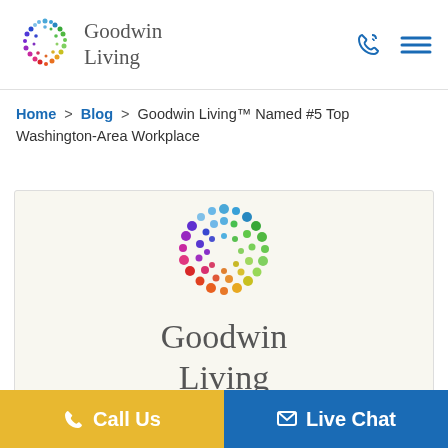[Figure (logo): Goodwin Living logo in header with colorful dot circle and serif text]
Home > Blog > Goodwin Living™ Named #5 Top Washington-Area Workplace
[Figure (logo): Large Goodwin Living logo on light cream background featuring colorful circular dot pattern above serif text]
Call Us
Live Chat